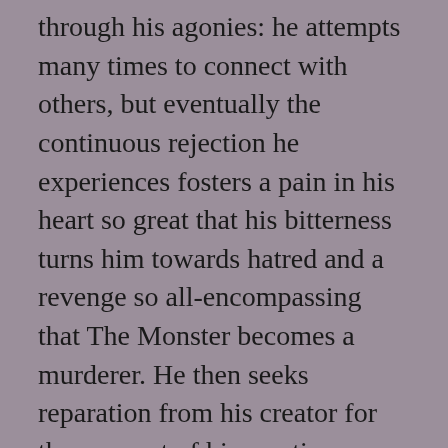through his agonies: he attempts many times to connect with others, but eventually the continuous rejection he experiences fosters a pain in his heart so great that his bitterness turns him towards hatred and a revenge so all-encompassing that The Monster becomes a murderer. He then seeks reparation from his creator for the very act of his creation, murdering Frankenstein's best friend, his fiancé, and his brother when Frankenstein will not cooperate with his demand to create a wife/companion for him.